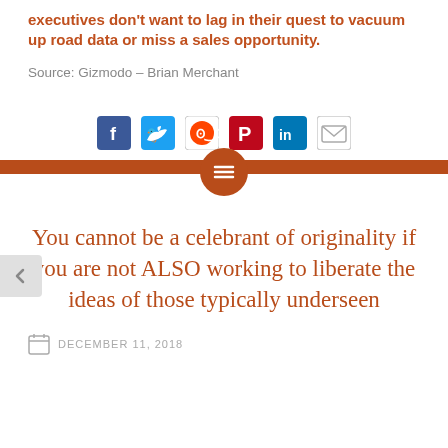executives don't want to lag in their quest to vacuum up road data or miss a sales opportunity.
Source: Gizmodo – Brian Merchant
[Figure (infographic): Social media sharing icons: Facebook, Twitter, Reddit, Pinterest, LinkedIn, Email]
You cannot be a celebrant of originality if you are not ALSO working to liberate the ideas of those typically underseen
DECEMBER 11, 2018